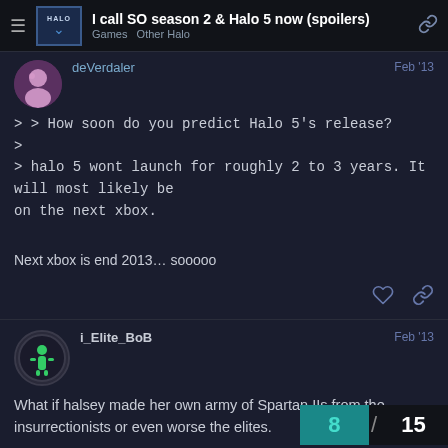I call SO season 2 & Halo 5 now (spoilers) — Games  Other Halo
deVerdaler — Feb '13
> > How soon do you predict Halo 5's release?
>
> halo 5 wont launch for roughly 2 to 3 years. It will most likely be on the next xbox.

Next xbox is end 2013… sooooo
i_Elite_BoB — Feb '13
What if halsey made her own army of Spartan IIs from the insurrectionists or even worse the elites.
8 / 15